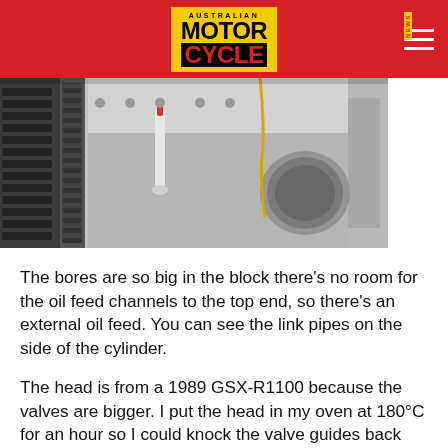AUSTRALIAN MOTORCYCLE NEWS
[Figure (photo): Close-up photograph of a motorcycle engine block showing external oil feed pipes on the side of the cylinder, with black ribbed components and metallic engine parts visible.]
The bores are so big in the block there’s no room for the oil feed channels to the top end, so there’s an external oil feed. You can see the link pipes on the side of the cylinder.
The head is from a 1989 GSX-R1100 because the valves are bigger. I put the head in my oven at 180°C for an hour so I could knock the valve guides back into the head and get the port as big and nicely shaped around it, before knocking the valve guide back through. Normally, I’d just cut the valve guide back while I was porting, but I reckon the valves need support in this engine. The porting itself wasn’t done with the same finesse I’d use with a normally-